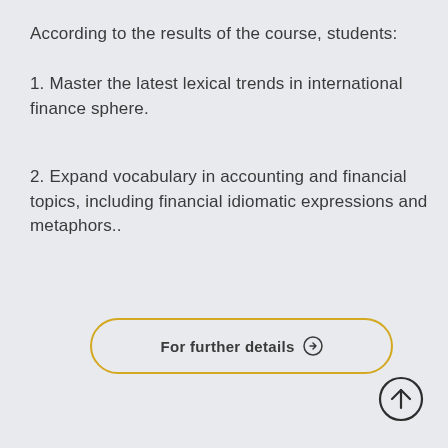According to the results of the course, students:
1. Master the latest lexical trends in international finance sphere.
2. Expand vocabulary in accounting and financial topics, including financial idiomatic expressions and metaphors..
For further details →
[Figure (illustration): Circular upward arrow button/icon in dark outline style]